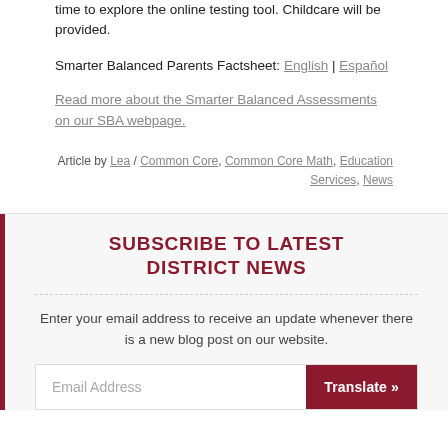time to explore the online testing tool. Childcare will be provided.
Smarter Balanced Parents Factsheet: English | Español
Read more about the Smarter Balanced Assessments on our SBA webpage.
Article by Lea / Common Core, Common Core Math, Education Services, News
SUBSCRIBE TO LATEST DISTRICT NEWS
Enter your email address to receive an update whenever there is a new blog post on our website.
Email Address